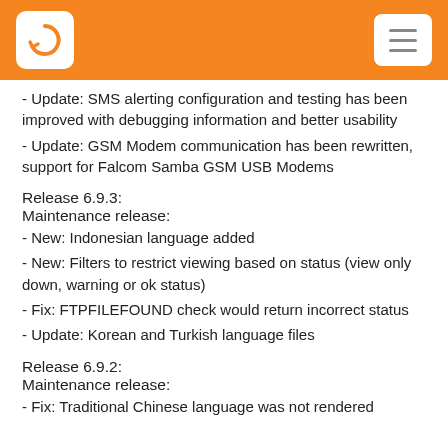[Logo] [Menu]
- Update: SMS alerting configuration and testing has been improved with debugging information and better usability
- Update: GSM Modem communication has been rewritten, support for Falcom Samba GSM USB Modems
Release 6.9.3:
Maintenance release:
- New: Indonesian language added
- New: Filters to restrict viewing based on status (view only down, warning or ok status)
- Fix: FTPFILEFOUND check would return incorrect status
- Update: Korean and Turkish language files
Release 6.9.2:
Maintenance release:
- Fix: Traditional Chinese language was not rendered